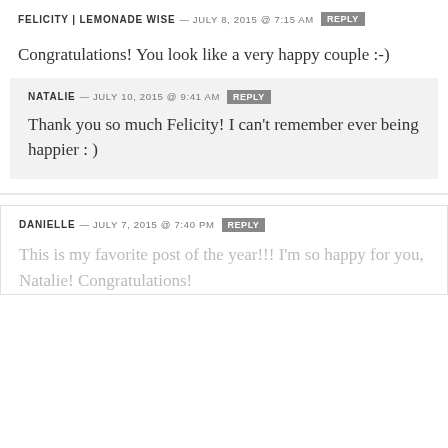FELICITY | LEMONADE WISE — JULY 8, 2015 @ 7:15 AM REPLY
Congratulations! You look like a very happy couple :-)
NATALIE — JULY 10, 2015 @ 9:41 AM REPLY
Thank you so much Felicity! I can't remember ever being happier : )
DANIELLE — JULY 7, 2015 @ 7:40 PM REPLY
This is my favorite post of the year!!! I'm so happy for you, Natalie! Congratulations!